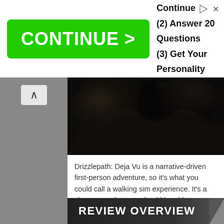[Figure (screenshot): Advertisement banner with green CONTINUE > button and steps: (1) Click Continue, (2) Answer 20 Questions, (3) Get Your Personality Result]
[Figure (photo): Dark moody game screenshot from Drizzlepath: Deja Vu showing dark rocky or cave-like environment]
Drizzlepath: Deja Vu is a narrative-driven first-person adventure, so it's what you could call a walking sim experience. It's a short game that you should be able to complete in an hour at most. With this one being a cross-buy release, you'll get the PlayStation 4 and the PlayStation 5 versions of the game for a $6.99 asking price.
Disclaimer
This Drizzlepath: Deja Vu review is based on a PlayStation 5 copy provided by eastasiasoft.
REVIEW OVERVIEW